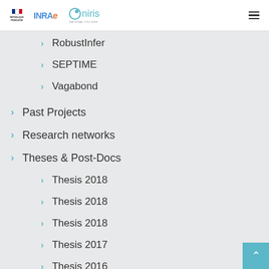REPUBLIQUE FRANÇAISE | INRAE | Oniris
RobustInfer
SEPTIME
Vagabond
Past Projects
Research networks
Theses & Post-Docs
Thesis 2018
Thesis 2018
Thesis 2018
Thesis 2017
Thesis 2016
Thesis 2015